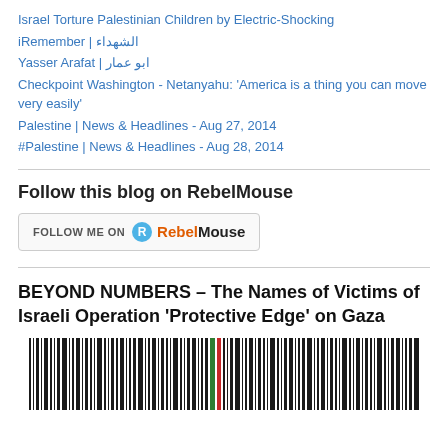Israel Torture Palestinian Children by Electric-Shocking
iRemember | الشهداء
Yasser Arafat | ابو عمار
Checkpoint Washington - Netanyahu: 'America is a thing you can move very easily'
Palestine | News & Headlines - Aug 27, 2014
#Palestine | News & Headlines - Aug 28, 2014
Follow this blog on RebelMouse
[Figure (other): Follow Me on RebelMouse button]
BEYOND NUMBERS – The Names of Victims of Israeli Operation 'Protective Edge' on Gaza
[Figure (other): Barcode-style illustration representing victims, with black vertical bars of varying widths and a single green and red bar among them]